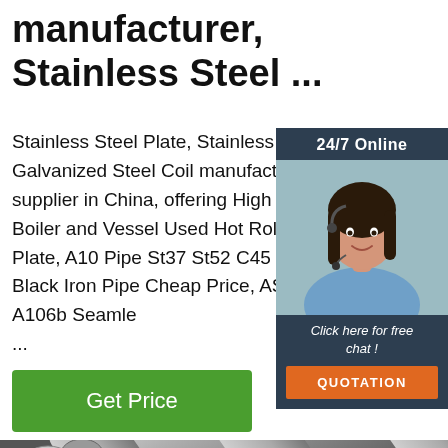manufacturer, Stainless Steel ...
Stainless Steel Plate, Stainless Steel Coil, Galvanized Steel Coil manufacturer supplier in China, offering High Pressure Boiler and Vessel Used Hot Rolled Steel Plate, A10 Pipe St37 St52 C45 Seamless Black Iron Pipe Cheap Price, ASTM A106b Seamle ...
[Figure (infographic): Green 'Get Price' button]
[Figure (infographic): Chat widget with '24/7 Online', female customer service representative, 'Click here for free chat!' text, and orange QUOTATION button]
[Figure (photo): Close-up photo of stainless steel round bar rods arranged in parallel]